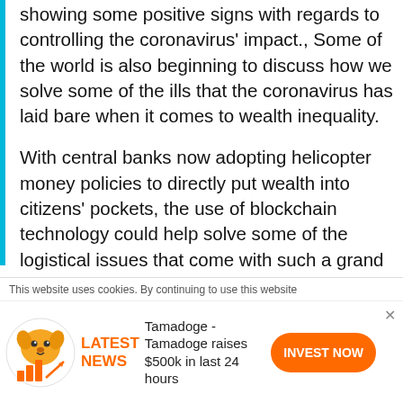showing some positive signs with regards to controlling the coronavirus' impact., Some of the world is also beginning to discuss how we solve some of the ills that the coronavirus has laid bare when it comes to wealth inequality.
With central banks now adopting helicopter money policies to directly put wealth into citizens' pockets, the use of blockchain technology could help solve some of the logistical issues that come with such a grand scheme. This becomes increasingly important when we think about the vast number of people across the globe that do not have  a bank account to receive such capital. By giving everyone a crypto
This website uses cookies. By continuing to use this website
[Figure (infographic): Advertisement banner: Tamadoge logo (dog mascot with bar chart and upward arrow), LATEST NEWS label in orange, text 'Tamadoge - Tamadoge raises $500k in last 24 hours', and orange INVEST NOW button with X close button]